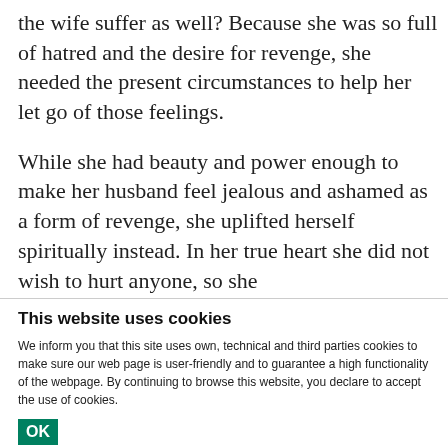the wife suffer as well? Because she was so full of hatred and the desire for revenge, she needed the present circumstances to help her let go of those feelings.
While she had beauty and power enough to make her husband feel jealous and ashamed as a form of revenge, she uplifted herself spiritually instead. In her true heart she did not wish to hurt anyone, so she gave up her desires, did not use her beauty for selfish
This website uses cookies
We inform you that this site uses own, technical and third parties cookies to make sure our web page is user-friendly and to guarantee a high functionality of the webpage. By continuing to browse this website, you declare to accept the use of cookies.
OK